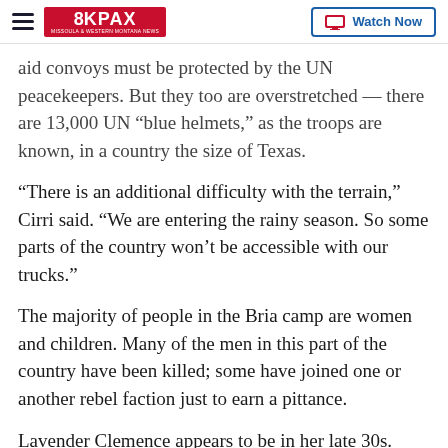8KPAX | Watch Now
aid convoys must be protected by the UN peacekeepers. But they too are overstretched — there are 13,000 UN “blue helmets,” as the troops are known, in a country the size of Texas.
“There is an additional difficulty with the terrain,” Cirri said. “We are entering the rainy season. So some parts of the country won’t be accessible with our trucks.”
The majority of people in the Bria camp are women and children. Many of the men in this part of the country have been killed; some have joined one or another rebel faction just to earn a pittance.
Lavender Clemence appears to be in her late 30s.